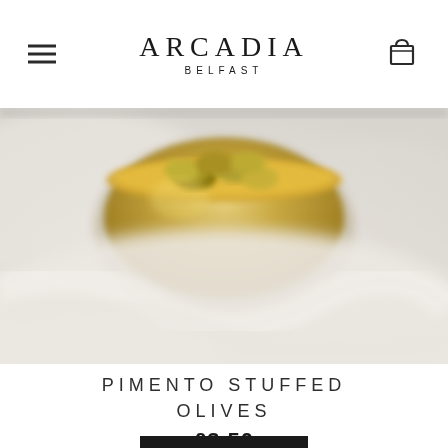ARCADIA BELFAST
[Figure (photo): Close-up blurred photo of a bowl of pimento stuffed olives, showing golden-green olives in a bowl surrounded by a white cloth or paper.]
PIMENTO STUFFED OLIVES
£3.50